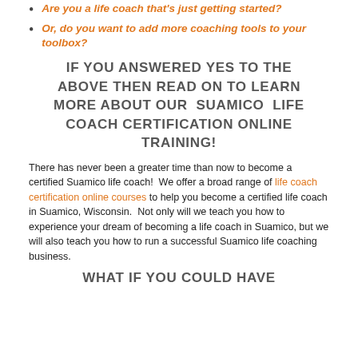Are you a life coach that's just getting started?
Or, do you want to add more coaching tools to your toolbox?
IF YOU ANSWERED YES TO THE ABOVE THEN READ ON TO LEARN MORE ABOUT OUR SUAMICO LIFE COACH CERTIFICATION ONLINE TRAINING!
There has never been a greater time than now to become a certified Suamico life coach! We offer a broad range of life coach certification online courses to help you become a certified life coach in Suamico, Wisconsin. Not only will we teach you how to experience your dream of becoming a life coach in Suamico, but we will also teach you how to run a successful Suamico life coaching business.
WHAT IF YOU COULD HAVE